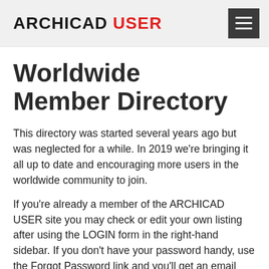ARCHICAD USER
Worldwide Member Directory
This directory was started several years ago but was neglected for a while. In 2019 we're bringing it all up to date and encouraging more users in the worldwide community to join.
If you're already a member of the ARCHICAD USER site you may check or edit your own listing after using the LOGIN form in the right-hand sidebar. If you don't have your password handy, use the Forgot Password link and you'll get an email allowing you to reset it.